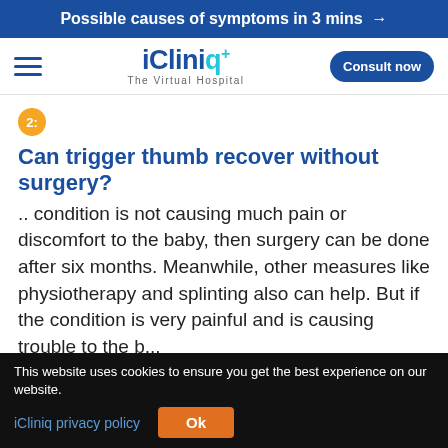Possible causes of symptoms in 3 mins →
[Figure (logo): iCliniq+ The Virtual Hospital logo with hamburger menu and Consult now button]
2: Can trigger thumb recover without surgery?
.. condition is not causing much pain or discomfort to the baby, then surgery can be done after six months. Meanwhile, other measures like physiotherapy and splinting also can help. But if the condition is very painful and is causing trouble to the b...
Read full →
3: Please explain the treatment based on
This website uses cookies to ensure you get the best experience on our website.
iCliniq privacy policy    Ok